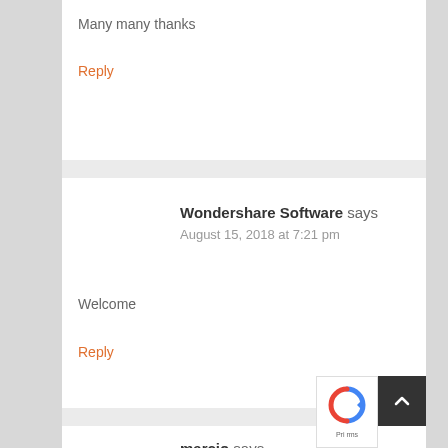Many many thanks
Reply
Wondershare Software says
August 15, 2018 at 7:21 pm
Welcome
Reply
marcio says
March 3, 2019 at 1:50 pm
thanks
Reply